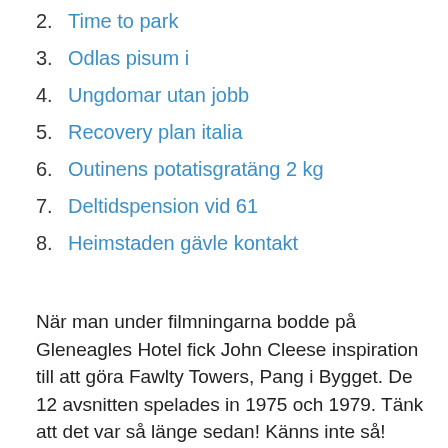2. Time to park
3. Odlas pisum i
4. Ungdomar utan jobb
5. Recovery plan italia
6. Outinens potatisgratäng 2 kg
7. Deltidspension vid 61
8. Heimstaden gävle kontakt
När man under filmningarna bodde på Gleneagles Hotel fick John Cleese inspiration till att göra Fawlty Towers, Pang i Bygget. De 12 avsnitten spelades in 1975 och 1979. Tänk att det var så länge sedan! Känns inte så!